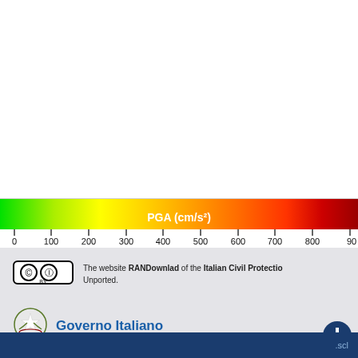[Figure (infographic): A horizontal color gradient bar (colorbar) representing PGA (cm/s²) scale from 0 to 900+, transitioning from green through yellow, orange, to dark red. Tick marks at 0, 100, 200, 300, 400, 500, 600, 700, 800, 90 (truncated) with label 'PGA (cm/s²)' centered in white bold text.]
The website RANDownlad of the Italian Civil Protection Unported.
[Figure (logo): Creative Commons BY license badge]
[Figure (logo): Governo Italiano emblem - Italian Republic coat of arms star logo]
Governo Italiano
.scl